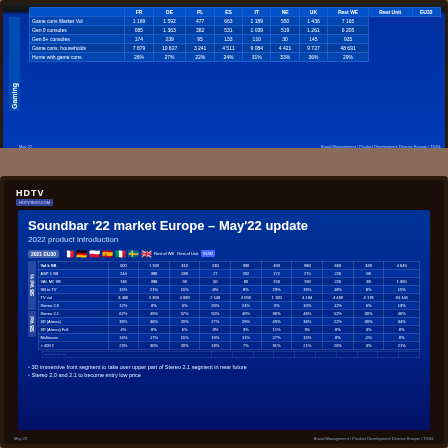[Figure (photo): Photo of a TV screen displaying a gaming market data table with blue background, showing Game cons Market Vol, Gen 0 consoles, Gen 8+ consoles, Game cons. households, Home with game cons. data for multiple European countries. Footer shows 'May 22' and 'Brand Management / Product Development Director Europe / TGGL']
[Figure (photo): Photo of a TV screen showing a presentation slide titled 'Soundbar 22 market Europe - May22 update' with subtitle '2022 product introduction'. Contains a data table with European country flags (France, Germany, Poland, Spain, Italy, Sweden/Nordic, UK, Rest of WE, Rest of Unit, EU32). Data rows include Vol k SB, ASP € SB, VAL M€ SB, SB to TV, TV vol, Stereo 2.0, Stereo 2.1, 3D (Atmos), 3D (Atmos) Full, Multiroom, >400€. Bottom bullet points: '3D immersive front segment to take over upper part of Stereo 2.1 segment in near future' and 'Stereo 2.0 and 2.1 to become entry low price'. HDTV watermark visible top-left. Footer shows 'May 22' and branding.]